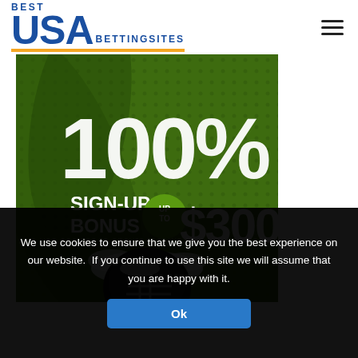BEST USA BETTINGSITES
[Figure (photo): Sports betting promotional banner showing 100% SIGN-UP BONUS UP TO $300 with a football player wearing a helmet on a dark green dotted background]
We use cookies to ensure that we give you the best experience on our website. If you continue to use this site we will assume that you are happy with it.
Ok